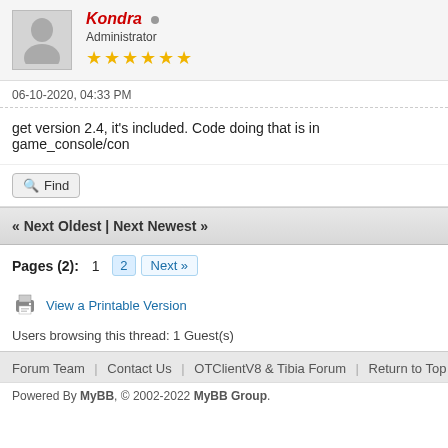Kondra [Administrator] ★★★★★★
06-10-2020, 04:33 PM
get version 2.4, it's included. Code doing that is in game_console/con
Find
« Next Oldest | Next Newest »
Pages (2): 1 2 Next »
View a Printable Version
Users browsing this thread: 1 Guest(s)
Forum Team   Contact Us   OTClientV8 & Tibia Forum   Return to Top   Lite (Arc
Powered By MyBB, © 2002-2022 MyBB Group.